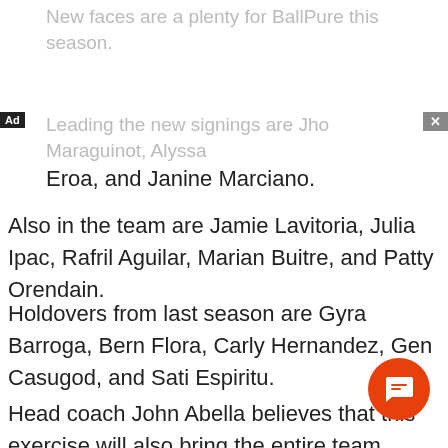New faces are a plenty for BallPure this season.
Leading the new signings are Jho Maraguinot, Alyssa Eroa, and Janine Marciano.
Also in the team are Jamie Lavitoria, Julia Ipac, Rafril Aguilar, Marian Buitre, and Patty Orendain.
Holdovers from last season are Gyra Barroga, Bern Flora, Carly Hernandez, Gen Casugod, and Sati Espiritu.
Head coach John Abella believes that this exercise will also bring the entire team closer to each other.
“Actually sa lahat ng teams na nahawakan ko, sinasabi ko na pressure is always there,” said Abella, a former PVL champion coach with Pocari Sweat. “Ang sabi lang kay Sir Gil, we can’t expect a lot from this team, bago pa.